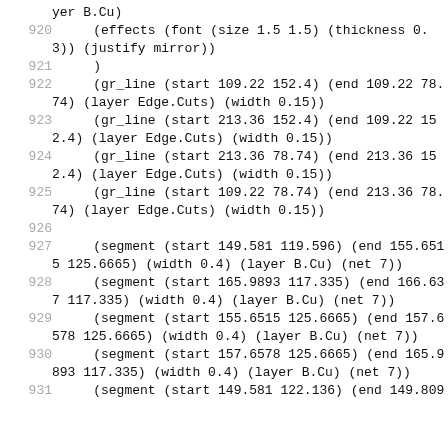yer B.Cu)
920     (effects (font (size 1.5 1.5) (thickness 0.3)) (justify mirror))
921     )
922     (gr_line (start 109.22 152.4) (end 109.22 78.74) (layer Edge.Cuts) (width 0.15))
923     (gr_line (start 213.36 152.4) (end 109.22 152.4) (layer Edge.Cuts) (width 0.15))
924     (gr_line (start 213.36 78.74) (end 213.36 152.4) (layer Edge.Cuts) (width 0.15))
925     (gr_line (start 109.22 78.74) (end 213.36 78.74) (layer Edge.Cuts) (width 0.15))
926
927     (segment (start 149.581 119.596) (end 155.6515 125.6665) (width 0.4) (layer B.Cu) (net 7))
928     (segment (start 165.9893 117.335) (end 166.637 117.335) (width 0.4) (layer B.Cu) (net 7))
929     (segment (start 155.6515 125.6665) (end 157.6578 125.6665) (width 0.4) (layer B.Cu) (net 7))
930     (segment (start 157.6578 125.6665) (end 165.9893 117.335) (width 0.4) (layer B.Cu) (net 7))
931     (segment (start 149.581 122.136) (end 149.809